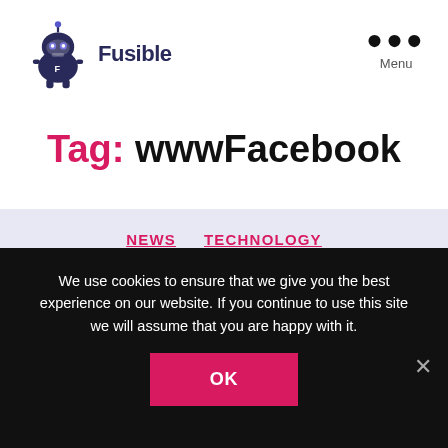Fusible
Tag: wwwFacebook
NEWS  TECHNOLOGY
We use cookies to ensure that we give you the best experience on our website. If you continue to use this site we will assume that you are happy with it.
OK